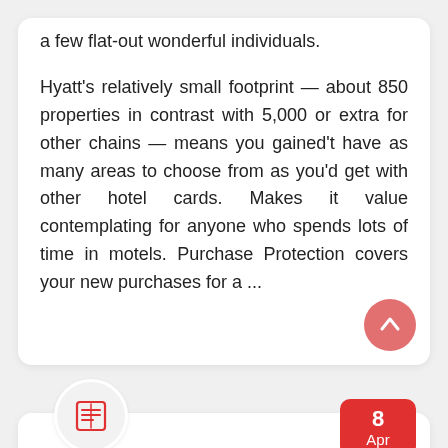a few flat-out wonderful individuals.

Hyatt's relatively small footprint — about 850 properties in contrast with 5,000 or extra for other chains — means you gained't have as many areas to choose from as you'd get with other hotel cards. Makes it value contemplating for anyone who spends lots of time in motels. Purchase Protection covers your new purchases for a ...
Small Business  technology,  within
Technology Within The News
An international analysis staff has now proven a method to scale quantum — Zoom and social